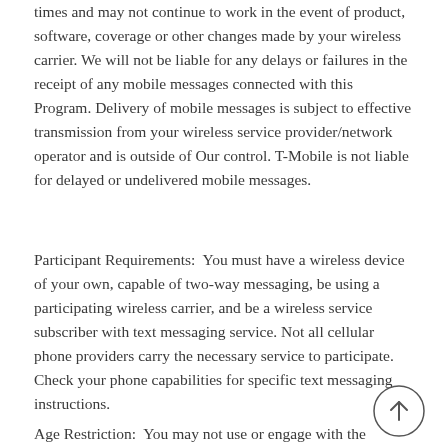times and may not continue to work in the event of product, software, coverage or other changes made by your wireless carrier. We will not be liable for any delays or failures in the receipt of any mobile messages connected with this Program. Delivery of mobile messages is subject to effective transmission from your wireless service provider/network operator and is outside of Our control. T-Mobile is not liable for delayed or undelivered mobile messages.
Participant Requirements:  You must have a wireless device of your own, capable of two-way messaging, be using a participating wireless carrier, and be a wireless service subscriber with text messaging service. Not all cellular phone providers carry the necessary service to participate. Check your phone capabilities for specific text messaging instructions.
Age Restriction:  You may not use or engage with the